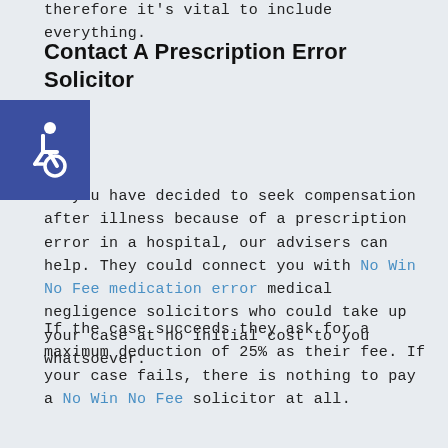therefore it's vital to include everything.
Contact A Prescription Error Solicitor
[Figure (illustration): Blue square accessibility icon with wheelchair symbol in white]
If you have decided to seek compensation after illness because of a prescription error in a hospital, our advisers can help. They could connect you with No Win No Fee medication error medical negligence solicitors who could take up your case at no initial cost to you whatsoever.
If the case succeeds they ask for a maximum deduction of 25% as their fee. If your case fails, there is nothing to pay a No Win No Fee solicitor at all.
The advantages of this are clear. They can explain the legal jargon and give your case the time and scrutiny it requires. You simply provide as much evidence as possible. They do the rest.
With this in mind, you could start a claim now in one simple phone call when you: